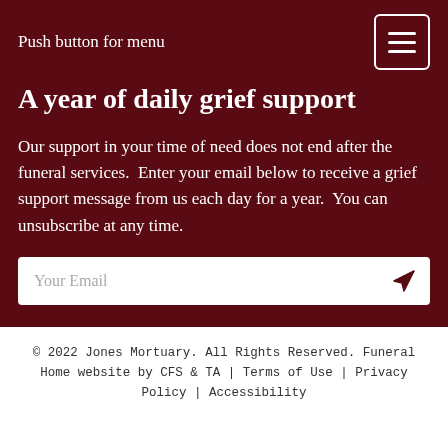Push button for menu
A year of daily grief support
Our support in your time of need does not end after the funeral services.  Enter your email below to receive a grief support message from us each day for a year.  You can unsubscribe at any time.
Your Email
© 2022 Jones Mortuary. All Rights Reserved. Funeral Home website by CFS & TA | Terms of Use | Privacy Policy | Accessibility